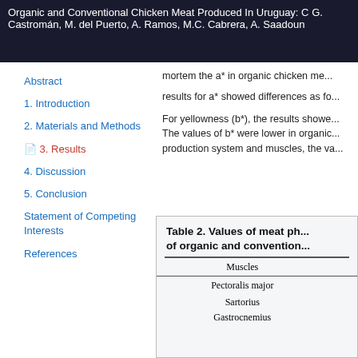Organic and Conventional Chicken Meat Produced In Uruguay: C
G. Castromán, M. del Puerto, A. Ramos, M.C. Cabrera, A. Saadoun
mortem the a* in organic chicken me... results for a* showed differences as fo...
Abstract
1. Introduction
2. Materials and Methods
3. Results
4. Discussion
5. Conclusion
Statement of Competing Interests
References
For yellowness (b*), the results showe... The values of b* were lower in organic... production system and muscles, the va... no difference between the three muscl...
The pH showed a system main effect... chicken meat of conventional system i...
| Muscles |  |
| --- | --- |
| Pectoralis major |  |
| Sartorius |  |
| Gastrocnemius |  |